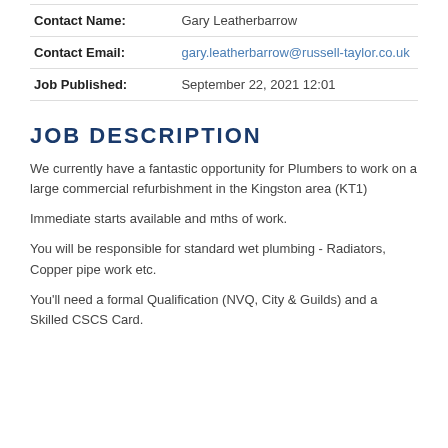| Contact Name: | Gary Leatherbarrow |
| Contact Email: | gary.leatherbarrow@russell-taylor.co.uk |
| Job Published: | September 22, 2021 12:01 |
JOB DESCRIPTION
We currently have a fantastic opportunity for Plumbers to work on a large commercial refurbishment in the Kingston area (KT1)
Immediate starts available and mths of work.
You will be responsible for standard wet plumbing - Radiators, Copper pipe work etc.
You'll need a formal Qualification (NVQ, City & Guilds) and a Skilled CSCS Card.